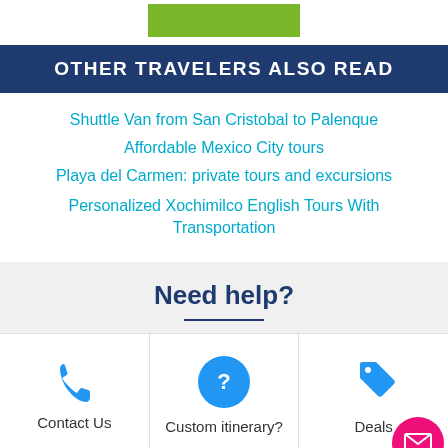[Figure (other): Green button at top (partially visible)]
OTHER TRAVELERS ALSO READ
Shuttle Van from San Cristobal to Palenque
Affordable Mexico City tours
Playa del Carmen: private tours and excursions
Personalized Xochimilco English Tours With Transportation
Need help?
[Figure (infographic): Three cards: Contact Us (phone icon), Custom itinerary? (question mark icon), Deals (tag icon with floating mail button)]